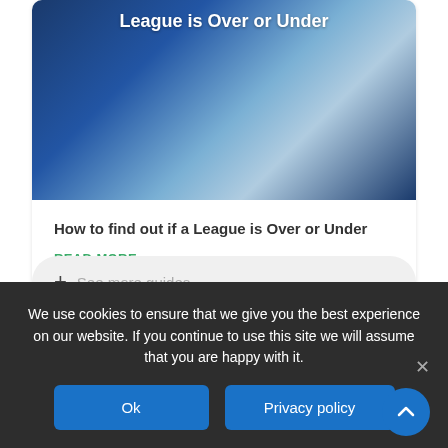[Figure (photo): Dark blue and light grey gradient/spotlight image used as article thumbnail for 'How to find out if a League is Over or Under']
How to find out if a League is Over or Under
READ MORE »
+ See more guides
We use cookies to ensure that we give you the best experience on our website. If you continue to use this site we will assume that you are happy with it.
Ok
Privacy policy